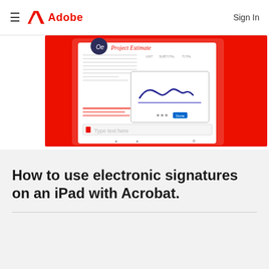≡  Adobe  Sign In
[Figure (screenshot): Screenshot of Adobe Acrobat on iPad showing a Project Estimate document with electronic signature interface — a signature drawn in a popup box over a form, with a 'Type text here' field below, on a red background.]
How to use electronic signatures on an iPad with Acrobat.